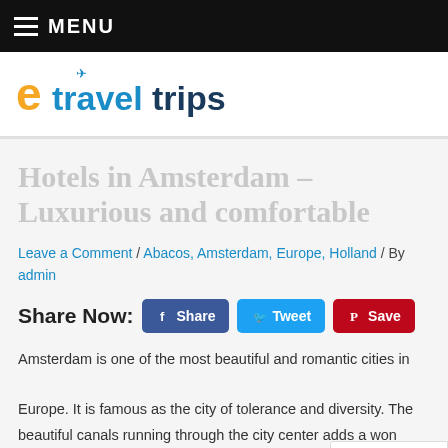MENU
[Figure (logo): eTraveltrips logo with orange 'e', blue 'travel', dark blue 'trips' text and airplane icon]
Hotels in Amsterdam – Luxurious and comfortable
Leave a Comment / Abacos, Amsterdam, Europe, Holland / By admin
Share Now: Share Tweet Save
Amsterdam is one of the most beautiful and romantic cities in Europe. It is famous as the city of tolerance and diversity. The beautiful canals running through the city center adds a wonderful attraction to the place. It s appealing as well as pleasing to be around the place as it has a little road traffic. The culture